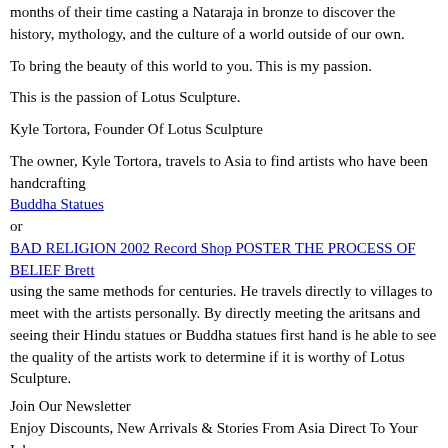months of their time casting a Nataraja in bronze to discover the history, mythology, and the culture of a world outside of our own.
To bring the beauty of this world to you. This is my passion.
This is the passion of Lotus Sculpture.
Kyle Tortora, Founder Of Lotus Sculpture
The owner, Kyle Tortora, travels to Asia to find artists who have been handcrafting Buddha Statues or BAD RELIGION 2002 Record Shop POSTER THE PROCESS OF BELIEF Brett using the same methods for centuries. He travels directly to villages to meet with the artists personally. By directly meeting the aritsans and seeing their Hindu statues or Buddha statues first hand is he able to see the quality of the artists work to determine if it is worthy of Lotus Sculpture.
Join Our Newsletter
Enjoy Discounts, New Arrivals & Stories From Asia Direct To Your Inbox